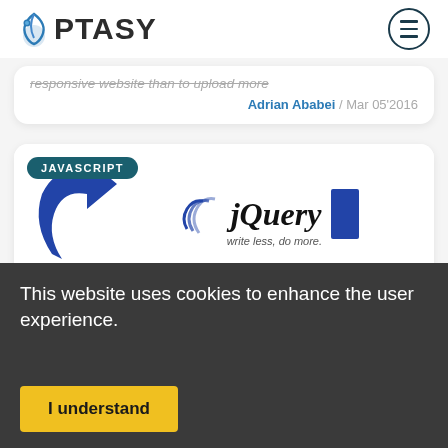OPTASY
responsive website than to upload more
Adrian Ababei / Mar 05'2016
[Figure (screenshot): jQuery logo with arrow icon and JAVASCRIPT badge. Shows jQuery branding with 'write less, do more.' tagline.]
This website uses cookies to enhance the user experience.
I understand